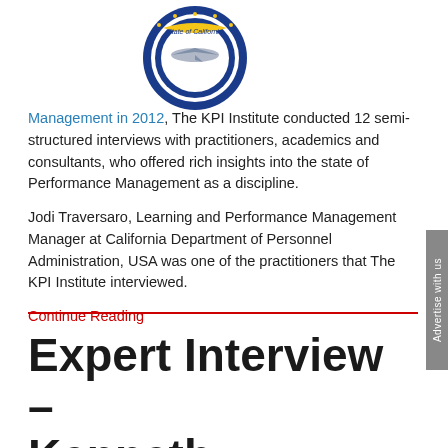[Figure (logo): California Department of Personnel Administration seal/logo — circular badge with blue ring, yellow banner reading 'State of California', aircraft image, and 'Administration' text around the bottom]
Management in 2012, The KPI Institute conducted 12 semi-structured interviews with practitioners, academics and consultants, who offered rich insights into the state of Performance Management as a discipline.

Jodi Traversaro, Learning and Performance Management Manager at California Department of Personnel Administration, USA was one of the practitioners that The KPI Institute interviewed.

Continue Reading
Expert Interview – Kenneth Merchant,